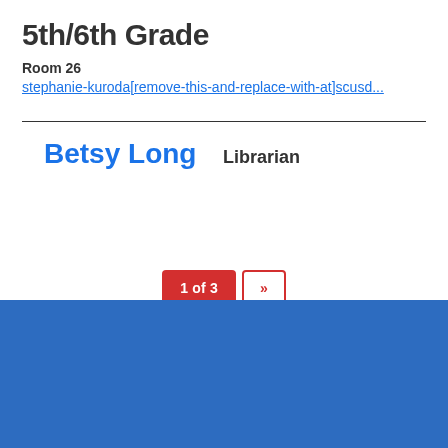5th/6th Grade
Room 26
stephanie-kuroda[remove-this-and-replace-with-at]scusd...
Betsy Long
Librarian
1 of 3  »